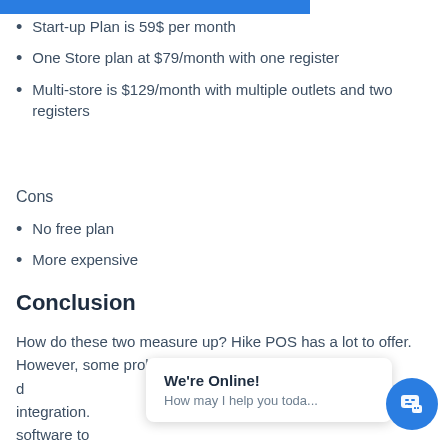Free 14-day trial
Start-up Plan is 59$ per month
One Store plan at $79/month with one register
Multi-store is $129/month with multiple outlets and two registers
Cons
No free plan
More expensive
Conclusion
How do these two measure up? Hike POS has a lot to offer. However, some problems do arise during the installation and integration. software to
We're Online! How may I help you toda...